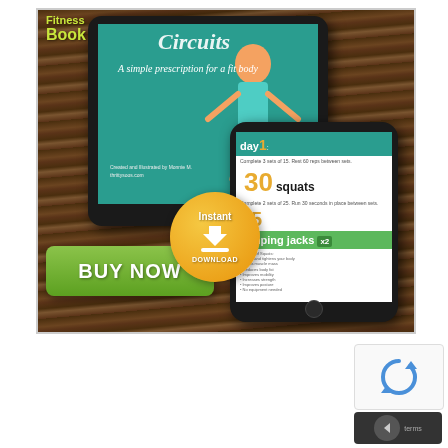[Figure (illustration): Advertisement for a Fitness Book digital product showing a tablet and smartphone displaying workout content (squats, jumping jacks). Includes an orange instant download badge, a green 'BUY NOW' button, and illustrated fitness characters.]
[Figure (illustration): reCAPTCHA widget and navigation back-button overlay in bottom right corner.]